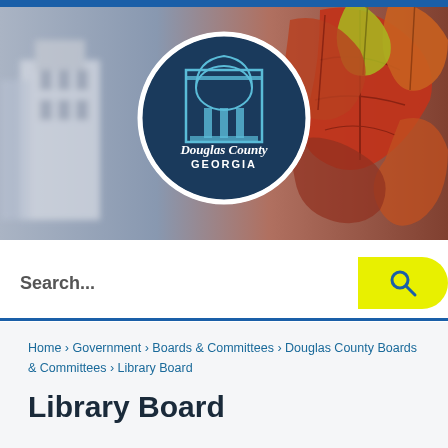[Figure (photo): Hero banner image showing autumn foliage (red, orange, yellow maple leaves) on the right side and a blurred building/courthouse on the left, with a circular Douglas County Georgia logo centered in the banner.]
Search...
Home › Government › Boards & Committees › Douglas County Boards & Committees › Library Board
Library Board